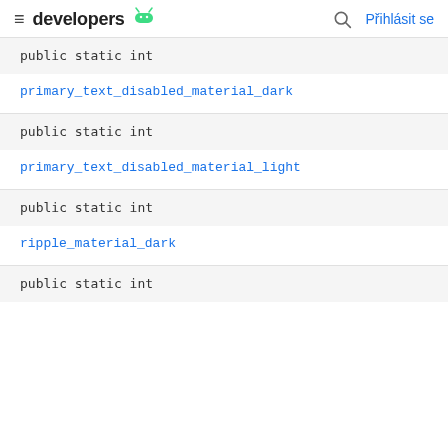≡ developers [android logo] 🔍 Přihlásit se
public static int
primary_text_disabled_material_dark
public static int
primary_text_disabled_material_light
public static int
ripple_material_dark
public static int